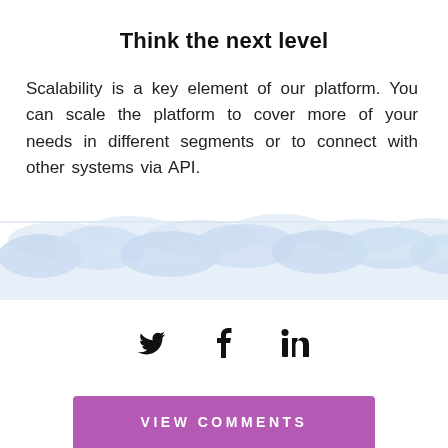Think the next level
Scalability is a key element of our platform. You can scale the platform to cover more of your needs in different segments or to connect with other systems via API.
[Figure (illustration): Decorative cloud illustration — soft blue/lavender layered cloud shapes spanning the full width of the page]
[Figure (infographic): Social media sharing icons: Twitter bird, Facebook f, LinkedIn in]
VIEW COMMENTS